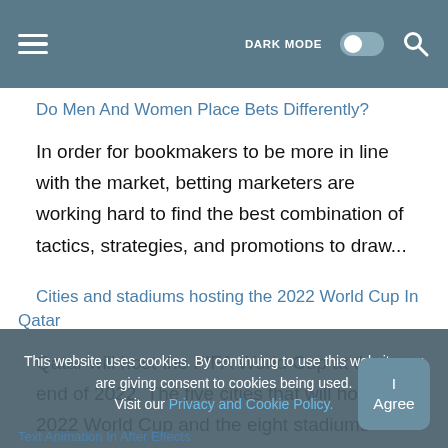DARK MODE
Do Men And Women Place Bets Differently?
In order for bookmakers to be more in line with the market, betting marketers are working hard to find the best combination of tactics, strategies, and promotions to draw...
Cities and stadiums hosting the 2022 World Cup In Qatar
Qatar will host the FIFA World Cup at the end of 2022. The five cities that will host the 2022 World Cup and the eight stadiums where it will...
This website uses cookies. By continuing to use this website you are giving consent to cookies being used. Visit our Privacy and Cookie Policy.
Text Animation In After Effects